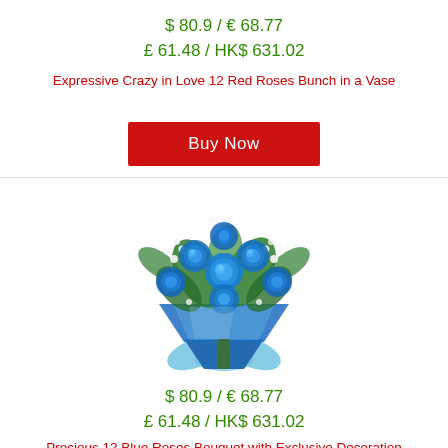$ 80.9 / € 68.77
£ 61.48 / HK$ 631.02
Expressive Crazy in Love 12 Red Roses Bunch in a Vase
Buy Now
[Figure (photo): Blue roses bouquet wrapped in blue paper with light blue ribbon bow]
$ 80.9 / € 68.77
£ 61.48 / HK$ 631.02
Precious 12 Blue Roses Bouquet with Exclusive Decoration